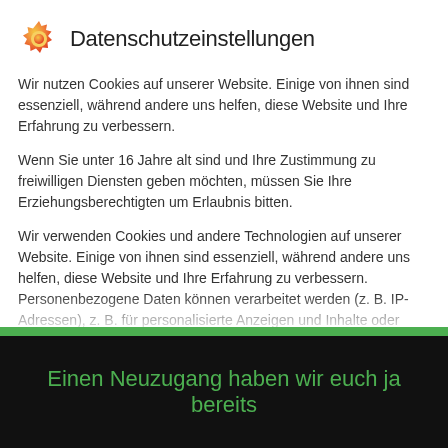Datenschutzeinstellungen
Wir nutzen Cookies auf unserer Website. Einige von ihnen sind essenziell, während andere uns helfen, diese Website und Ihre Erfahrung zu verbessern.
Wenn Sie unter 16 Jahre alt sind und Ihre Zustimmung zu freiwilligen Diensten geben möchten, müssen Sie Ihre Erziehungsberechtigten um Erlaubnis bitten.
Wir verwenden Cookies und andere Technologien auf unserer Website. Einige von ihnen sind essenziell, während andere uns helfen, diese Website und Ihre Erfahrung zu verbessern. Personenbezogene Daten können verarbeitet werden (z. B. IP-Adressen), z. B. für personalisierte Anzeigen und Inhalte oder
Essenziell
Statistiken
Externe Medien
Einen Neuzugang haben wir euch ja bereits